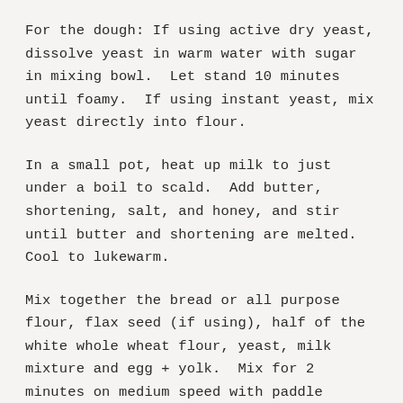For the dough: If using active dry yeast, dissolve yeast in warm water with sugar in mixing bowl.  Let stand 10 minutes until foamy.  If using instant yeast, mix yeast directly into flour.
In a small pot, heat up milk to just under a boil to scald.  Add butter, shortening, salt, and honey, and stir until butter and shortening are melted. Cool to lukewarm.
Mix together the bread or all purpose flour, flax seed (if using), half of the white whole wheat flour, yeast, milk mixture and egg + yolk.  Mix for 2 minutes on medium speed with paddle attachment.
Using the dough hook, gradually knead in enough of remaining white whole wheat flour to make a soft...